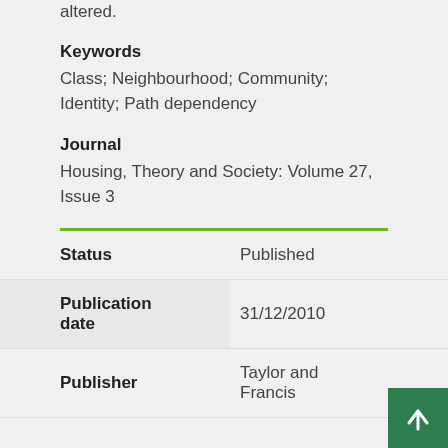altered.
Keywords
Class; Neighbourhood; Community; Identity; Path dependency
Journal
Housing, Theory and Society: Volume 27, Issue 3
| Field | Value |
| --- | --- |
| Status | Published |
| Publication date | 31/12/2010 |
| Publisher | Taylor and Francis |